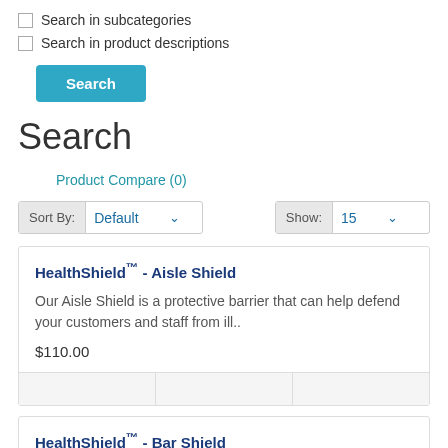Search in subcategories
Search in product descriptions
Search
Search
Product Compare (0)
Sort By: Default   Show: 15
HealthShield™ - Aisle Shield
Our Aisle Shield is a protective barrier that can help defend your customers and staff from ill..
$110.00
HealthShield™ - Bar Shield